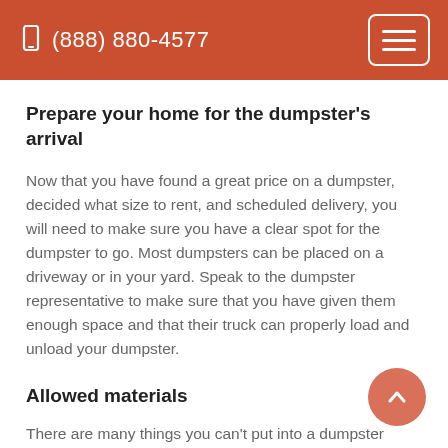(888) 880-4577
Prepare your home for the dumpster's arrival
Now that you have found a great price on a dumpster, decided what size to rent, and scheduled delivery, you will need to make sure you have a clear spot for the dumpster to go. Most dumpsters can be placed on a driveway or in your yard. Speak to the dumpster representative to make sure that you have given them enough space and that their truck can properly load and unload your dumpster.
Allowed materials
There are many things you can't put into a dumpster